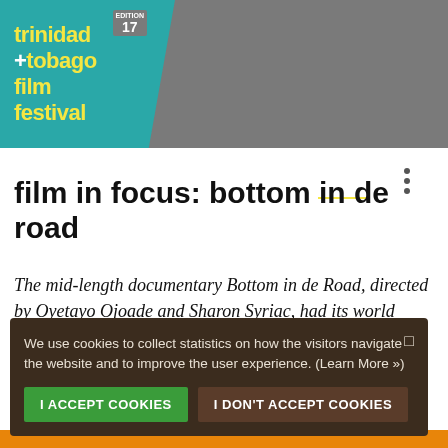trinidad +tobago film festival | Edition 17 | ttff+ | LOVE CARIBBEAN FILM
film in focus: bottom in de road
The mid-length documentary Bottom in de Road, directed by Oyetayo Ojoade and Sharon Syriac, had its world premiere on Tuesday at the ttff/15. Our blogger, Aurora Herrera, attended
We use cookies to collect statistics on how the visitors navigate the website and to improve the user experience. (Learn More »)
I ACCEPT COOKIES   I DON'T ACCEPT COOKIES